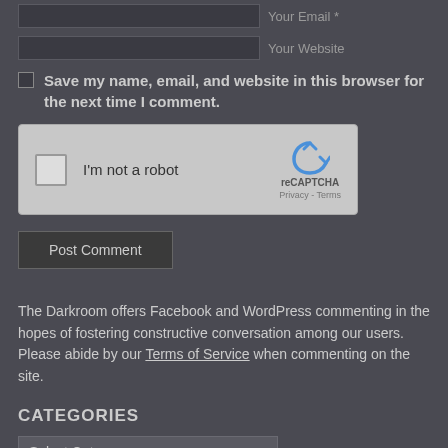Your Email *
Your Website
Save my name, email, and website in this browser for the next time I comment.
[Figure (other): reCAPTCHA widget with checkbox labeled I'm not a robot]
Post Comment
The Darkroom offers Facebook and WordPress commenting in the hopes of fostering constructive conversation among our users. Please abide by our Terms of Service when commenting on the site.
CATEGORIES
Select Category